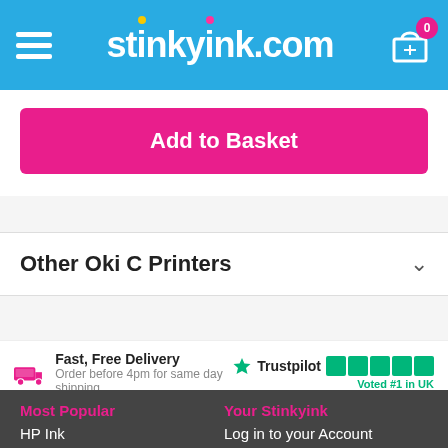Stinkyink.com
Add to Basket
Other Oki C Printers
Fast, Free Delivery
Order before 4pm for same day shipping
[Figure (logo): Trustpilot logo with 5 green stars and text 'Voted #1 in UK']
Most Popular
Your Stinkyink
HP Ink
Log in to your Account
Canon Ink
Contact Us
Epson Ink
Return an Item